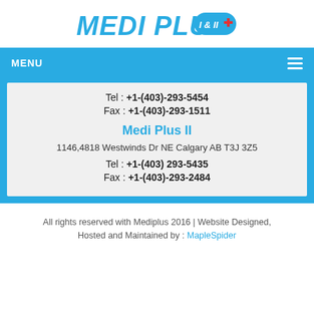[Figure (logo): Medi Plus I & II logo with blue italic text and badge]
MENU
Tel : +1-(403)-293-5454
Fax : +1-(403)-293-1511
Medi Plus II
1146,4818 Westwinds Dr NE Calgary AB T3J 3Z5
Tel : +1-(403) 293-5435
Fax : +1-(403)-293-2484
All rights reserved with Mediplus 2016 | Website Designed, Hosted and Maintained by : MapleSpider